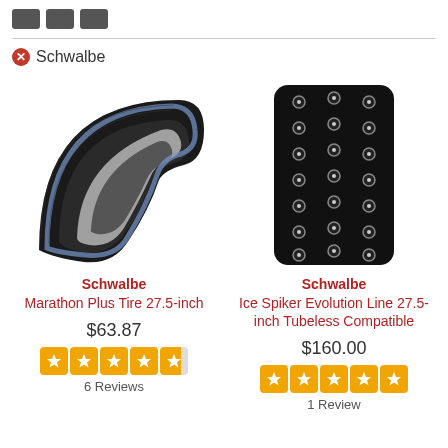[navigation icons]
Schwalbe
[Figure (photo): Schwalbe Marathon Plus Tire 27.5-inch bicycle tire, black with reflective stripe, shown in partial side profile]
Schwalbe
Marathon Plus Tire 27.5-inch
$63.87
6 Reviews
[Figure (photo): Schwalbe Ice Spiker Evolution Line 27.5-inch bicycle tire with metal studs/spikes on tread]
Schwalbe
Ice Spiker Evolution Line 27.5-inch Tubeless Compatible
$160.00
1 Review